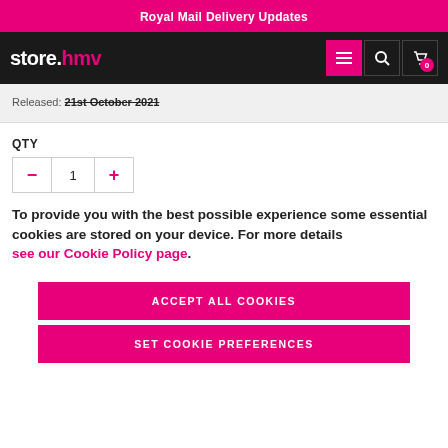Royal Mail Delivery Updates
[Figure (screenshot): store.hmv logo with navigation icons (menu, search, cart with 0 badge)]
Released: 21st October 2021
QTY
To provide you with the best possible experience some essential cookies are stored on your device. For more details see our Cookie Policy page.
ACCEPT ALL COOKIES
SET COOKIE PREFERENCES